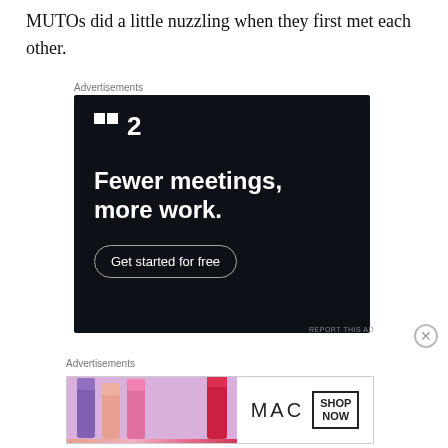MUTOs did a little nuzzling when they first met each other.
Advertisements
[Figure (screenshot): Dark navy background advertisement for a project management app. Shows a stylized logo with two squares and the number 2, followed by bold white text reading 'Fewer meetings, more work.' and a rounded button 'Get started for free'.]
REPORT THIS AD
Advertisements
[Figure (screenshot): MAC cosmetics advertisement showing colorful lipsticks on left side with MAC logo and a 'SHOP NOW' button box on the right.]